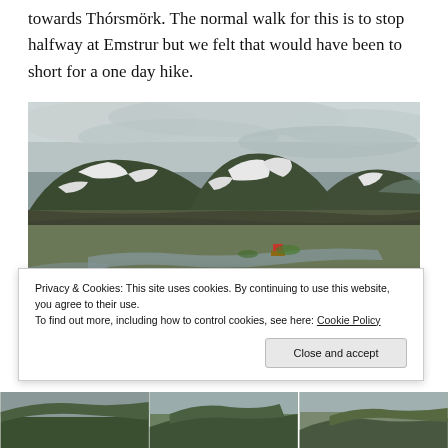towards Thórsmörk. The normal walk for this is to stop halfway at Emstrur but we felt that would have been to short for a one day hike.
[Figure (photo): Panoramic landscape photo of Icelandic highlands near Emstrur/Thórsmörk showing green volcanic mountains with snow patches, a flat valley below with a small red-roofed hut, a winding river/stream, and an overcast cloudy sky.]
Privacy & Cookies: This site uses cookies. By continuing to use this website, you agree to their use.
To find out more, including how to control cookies, see here: Cookie Policy
Close and accept
[Figure (photo): Bottom strip showing three thumbnail photos of Icelandic landscape scenes.]